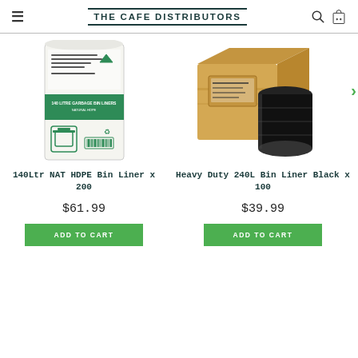THE CAFE DISTRIBUTORS
[Figure (photo): Product image: 140Ltr NAT HDPE Bin Liner x 200 — white plastic bag packaging with green label]
140Ltr NAT HDPE Bin Liner x 200
$61.99
ADD TO CART
[Figure (photo): Product image: Heavy Duty 240L Bin Liner Black x 100 — cardboard box with large black plastic roll]
Heavy Duty 240L Bin Liner Black x 100
$39.99
ADD TO CART